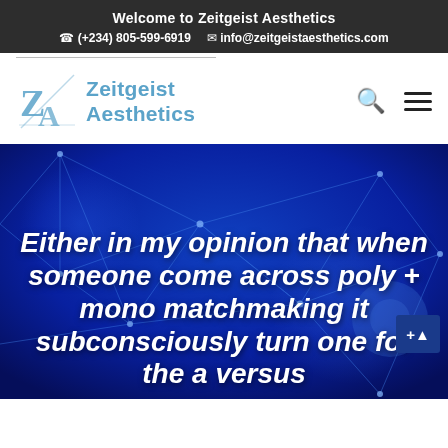Welcome to Zeitgeist Aesthetics
(+234) 805-599-6919  info@zeitgeistaesthetics.com
[Figure (logo): ZA logo — stylized Z and A letterforms in light blue, forming a monogram badge]
Zeitgeist Aesthetics
[Figure (illustration): Dark blue hero banner background with glowing network/polygon line art pattern in lighter blue tones]
Either in my opinion that when someone come across poly + mono matchmaking it subconsciously turn one for the a versus